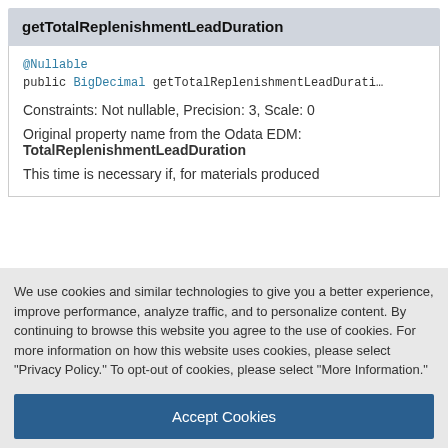getTotalReplenishmentLeadDuration
@Nullable
public BigDecimal getTotalReplenishmentLeadDurati…
Constraints: Not nullable, Precision: 3, Scale: 0
Original property name from the Odata EDM:
TotalReplenishmentLeadDuration
This time is necessary if, for materials produced
We use cookies and similar technologies to give you a better experience, improve performance, analyze traffic, and to personalize content. By continuing to browse this website you agree to the use of cookies. For more information on how this website uses cookies, please select "Privacy Policy." To opt-out of cookies, please select "More Information."
Accept Cookies
More Information
Privacy Policy | Powered by: TrustArc
necessary to depict the product's total